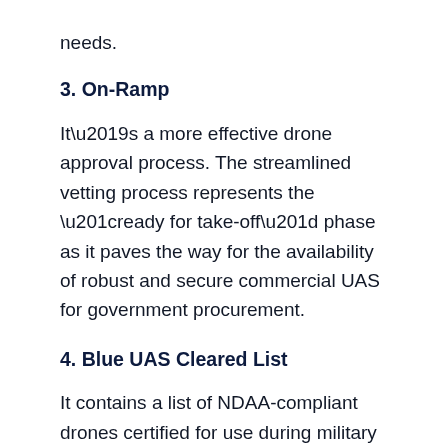needs.
3. On-Ramp
It’s a more effective drone approval process. The streamlined vetting process represents the “ready for take-off” phase as it paves the way for the availability of robust and secure commercial UAS for government procurement.
4. Blue UAS Cleared List
It contains a list of NDAA-compliant drones certified for use during military